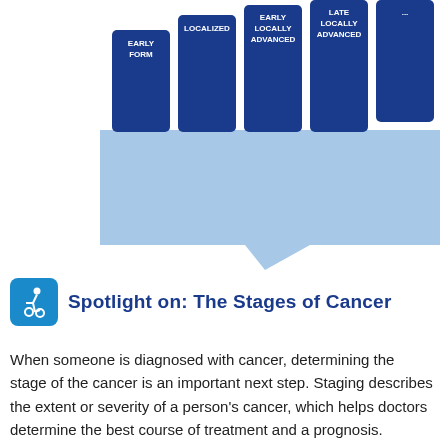[Figure (infographic): Partial view of a bar chart infographic showing cancer stages as dark blue vertical bars with labels: EARLY FORM, LOCALIZED, EARLY LOCALLY ADVANCED, LATE LOCALLY ADVANCED, and a partially visible fifth bar. A light blue speech bubble/chevron shape extends below the bars.]
Spotlight on: The Stages of Cancer
When someone is diagnosed with cancer, determining the stage of the cancer is an important next step. Staging describes the extent or severity of a person's cancer, which helps doctors determine the best course of treatment and a prognosis.